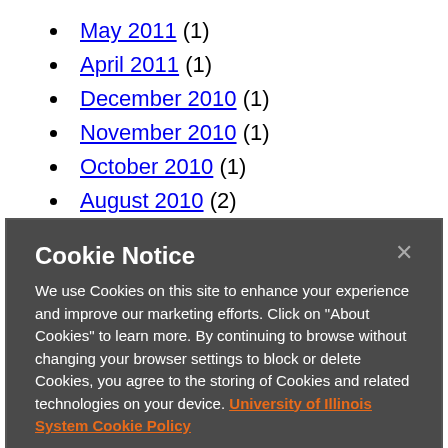May 2011 (1)
April 2011 (1)
December 2010 (1)
November 2010 (1)
October 2010 (1)
August 2010 (2)
Cookie Notice

We use Cookies on this site to enhance your experience and improve our marketing efforts. Click on "About Cookies" to learn more. By continuing to browse without changing your browser settings to block or delete Cookies, you agree to the storing of Cookies and related technologies on your device. University of Illinois System Cookie Policy
About Cookies | Close this Notice